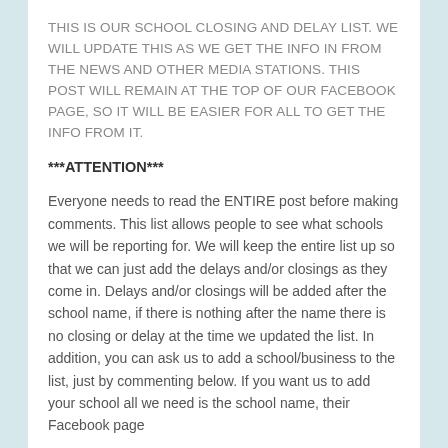THIS IS OUR SCHOOL CLOSING AND DELAY LIST. WE WILL UPDATE THIS AS WE GET THE INFO IN FROM THE NEWS AND OTHER MEDIA STATIONS. THIS POST WILL REMAIN AT THE TOP OF OUR FACEBOOK PAGE, SO IT WILL BE EASIER FOR ALL TO GET THE INFO FROM IT.
***ATTENTION***
Everyone needs to read the ENTIRE post before making comments. This list allows people to see what schools we will be reporting for. We will keep the entire list up so that we can just add the delays and/or closings as they come in. Delays and/or closings will be added after the school name, if there is nothing after the name there is no closing or delay at the time we updated the list. In addition, you can ask us to add a school/business to the list, just by commenting below. If you want us to add your school all we need is the school name, their Facebook page